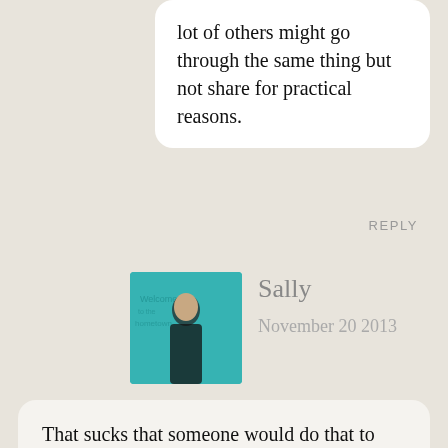lot of others might go through the same thing but not share for practical reasons.
REPLY
[Figure (photo): Avatar photo of commenter Sally, showing a person in front of a teal/turquoise sign outdoors]
Sally
November 20 2013
That sucks that someone would do that to you and feel okay about it, I follow you on FB but mainly so I can see when you update your blog (if you wish me to remove this I'll do so)
It's definitely best to draw a line in the sand, maybe consider creating a fan page so people can follow you there and then you